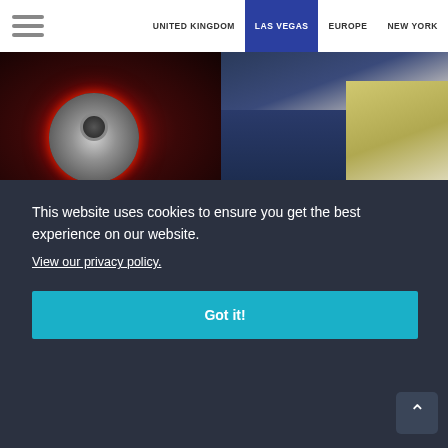UNITED KINGDOM | LAS VEGAS | EUROPE | NEW YORK
[Figure (photo): Close-up photo of a mechanical device with red lighting, dark background]
[Figure (photo): Close-up photo of a person in a dark suit with a yellow tie]
Krishna Vemulapali
Chief Product Officer - Trellis Corporation
Shawn Weber
Managing Director & VP Operations - Crested River
This website uses cookies to ensure you get the best experience on our website.
View our privacy policy.
Got it!
[Figure (photo): Partial face photo of a person at bottom left]
[Figure (photo): Partial face photo of a person at bottom right]